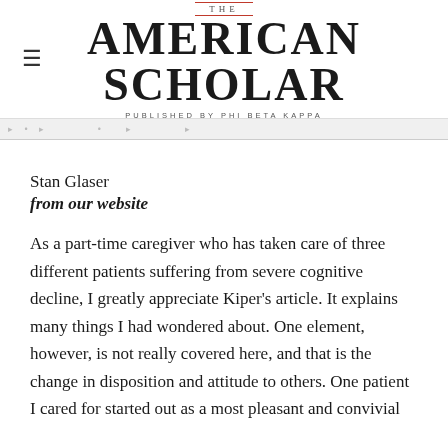THE AMERICAN SCHOLAR — PUBLISHED BY PHI BETA KAPPA
Stan Glaser
from our website
As a part-time caregiver who has taken care of three different patients suffering from severe cognitive decline, I greatly appreciate Kiper's article. It explains many things I had wondered about. One element, however, is not really covered here, and that is the change in disposition and attitude to others. One patient I cared for started out as a most pleasant and convivial